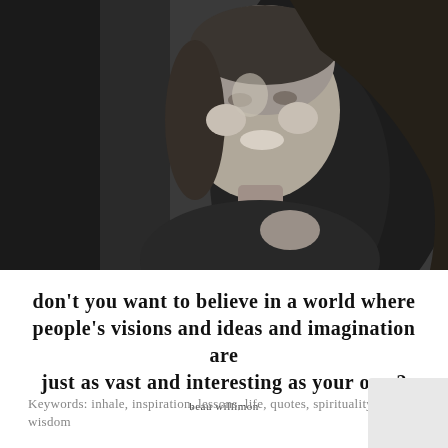[Figure (photo): Black and white portrait photo of a young woman with long brown hair, smiling, wearing a dark jacket, photographed against a dark background]
don't you want to believe in a world where people's visions and ideas and imagination are just as vast and interesting as your own?
beau willimon
Keywords: inhale, inspiration, lessons, life, quotes, spirituality, wisdom